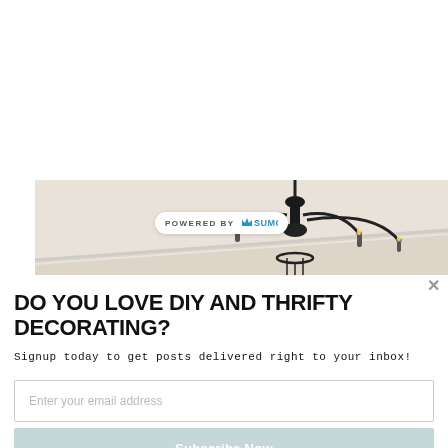[Figure (photo): Chandelier photo with a black wrought-iron multi-arm chandelier hanging from a white ceiling in a room with beige walls. A 'POWERED BY SUMO' badge overlays the image.]
DO YOU LOVE DIY AND THRIFTY DECORATING?
Signup today to get posts delivered right to your inbox!
Enter your email address
Subscribe Now